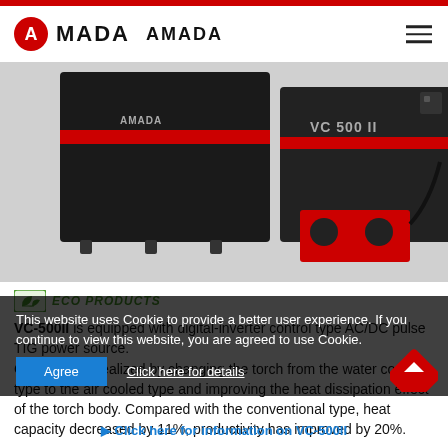AMADA
[Figure (photo): Photo of AMADA VC-500II welding machine, large black industrial unit with red accent stripe, with red foot pedal attachment and cable]
ECO PRODUCTS
VC-500II is equipped with digital-inverter control type AC/DC pulse TIG power source.
Chillerless is realized by changing the torch from the water cooled type to the air cooled type and improving the heat dissipation effect of the torch body. Compared with the conventional type, heat capacity decreased by 11%, productivity has improved by 20%.
This website uses Cookie to provide a better user experience. If you continue to view this website, you are agreed to use Cookie.
Click here for information on VC-500II